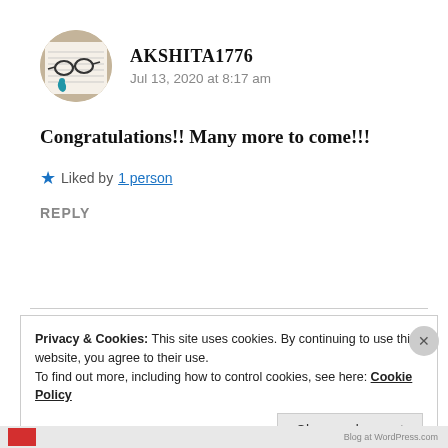[Figure (photo): Circular avatar image showing glasses resting on a handwritten page, with a blue decorative element]
AKSHITA1776
Jul 13, 2020 at 8:17 am
Congratulations!! Many more to come!!!
Liked by 1 person
REPLY
Privacy & Cookies: This site uses cookies. By continuing to use this website, you agree to their use.
To find out more, including how to control cookies, see here: Cookie Policy
Close and accept